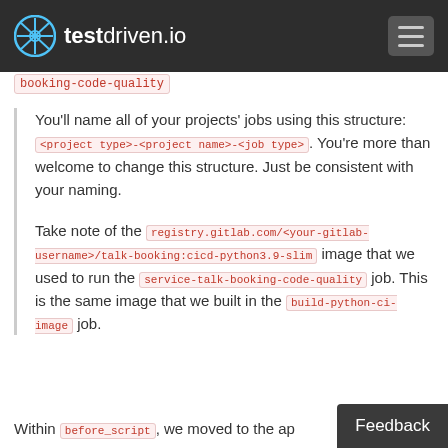testdriven.io
booking-code-quality (truncated, top of page)
You'll name all of your projects' jobs using this structure: <project type>-<project name>-<job type>. You're more than welcome to change this structure. Just be consistent with your naming.
Take note of the registry.gitlab.com/<your-gitlab-username>/talk-booking:cicd-python3.9-slim image that we used to run the service-talk-booking-code-quality job. This is the same image that we built in the build-python-ci-image job.
Within before_script, we moved to the ap...